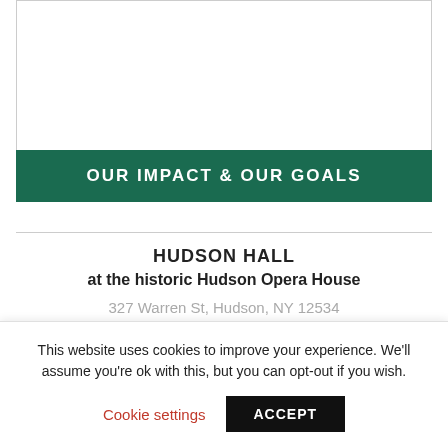[Figure (other): White image box with border at top of page]
OUR IMPACT & OUR GOALS
HUDSON HALL
at the historic Hudson Opera House
327 Warren St, Hudson, NY 12534
This website uses cookies to improve your experience. We'll assume you're ok with this, but you can opt-out if you wish.
Cookie settings  ACCEPT